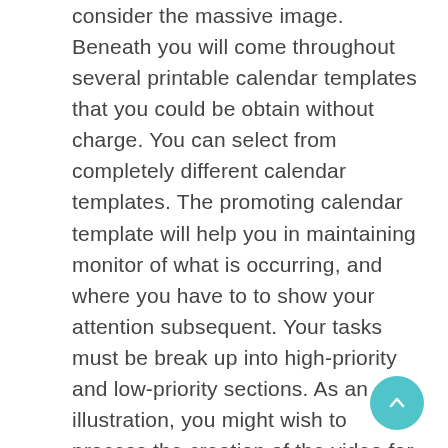consider the massive image. Beneath you will come throughout several printable calendar templates that you could be obtain without charge. You can select from completely different calendar templates. The promoting calendar template will help you in maintaining monitor of what is occurring, and where you have to to show your attention subsequent. Your tasks must be break up into high-priority and low-priority sections. As an illustration, you might wish to process the creation of the video far beforehand to be able to have it ready when required. You may stop the things you that decelerate the process. You recognize which programs you wish to offer you. Particularly considering you possibly can receive the exact similar software right right here for gratis! To seek out the completely free photographs it's possible you'll search the help of internet where you